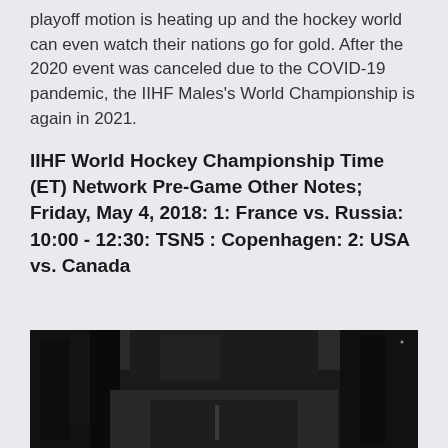playoff motion is heating up and the hockey world can even watch their nations go for gold. After the 2020 event was canceled due to the COVID-19 pandemic, the IIHF Males's World Championship is again in 2021.
IIHF World Hockey Championship Time (ET) Network Pre-Game Other Notes; Friday, May 4, 2018: 1: France vs. Russia: 10:00 - 12:30: TSN5 : Copenhagen: 2: USA vs. Canada
[Figure (photo): Black and white photograph of a dark road through a forest with tall trees on both sides]